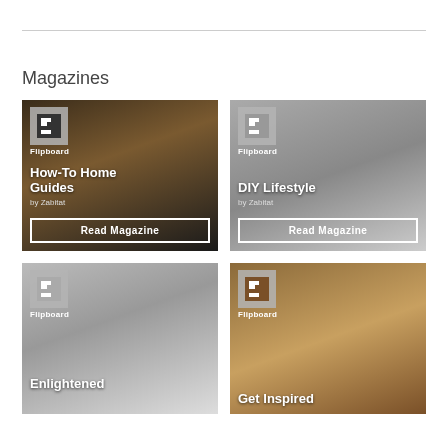Magazines
[Figure (screenshot): Flipboard magazine card: How-To Home Guides by Zabitat, with Read Magazine button, dark wood/TV background]
[Figure (screenshot): Flipboard magazine card: DIY Lifestyle by Zabitat, with Read Magazine button, gray bathroom background]
[Figure (screenshot): Flipboard magazine card: Enlightened (partial), Flipboard logo, light door/window background]
[Figure (screenshot): Flipboard magazine card: Get Inspired (partial), Flipboard logo, food/wreath background]